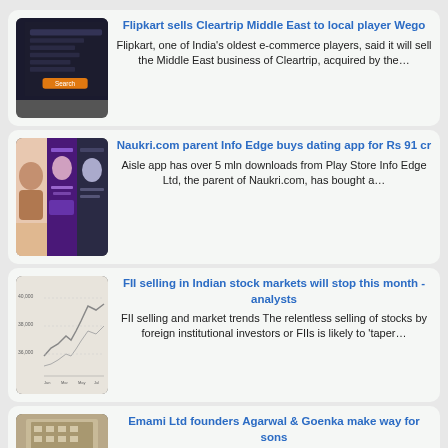[Figure (screenshot): News card: Flipkart sells Cleartrip Middle East to local player Wego. Thumbnail of a dark UI with search fields and an orange button.]
Flipkart sells Cleartrip Middle East to local player Wego
Flipkart, one of India's oldest e-commerce players, said it will sell the Middle East business of Cleartrip, acquired by the…
[Figure (screenshot): News card: Naukri.com parent Info Edge buys dating app for Rs 91 cr. Thumbnail of Aisle dating app screens.]
Naukri.com parent Info Edge buys dating app for Rs 91 cr
Aisle app has over 5 mln downloads from Play Store Info Edge Ltd, the parent of Naukri.com, has bought a…
[Figure (screenshot): News card: FII selling in Indian stock markets will stop this month - analysts. Thumbnail of a stock market chart.]
FII selling in Indian stock markets will stop this month - analysts
FII selling and market trends The relentless selling of stocks by foreign institutional investors or FIIs is likely to 'taper…
[Figure (photo): News card: Emami Ltd founders Agarwal & Goenka make way for sons. Thumbnail of Emami building.]
Emami Ltd founders Agarwal & Goenka make way for sons